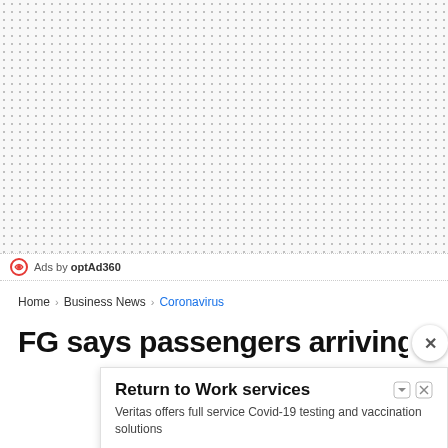[Figure (other): Gray dot grid background pattern area]
Ads by optAd360
Home › Business News › Coronavirus
FG says passengers arriving
[Figure (other): Advertisement popup: Return to Work services. Veritas offers full service Covid-19 testing and vaccination solutions. veritas.healthcare. OPEN button.]